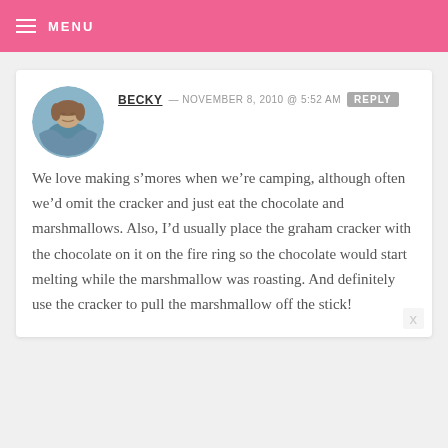MENU
[Figure (photo): Circular avatar photo of a woman with curly hair outdoors near water]
BECKY — NOVEMBER 8, 2010 @ 5:52 AM REPLY
We love making s’mores when we’re camping, although often we’d omit the cracker and just eat the chocolate and marshmallows. Also, I’d usually place the graham cracker with the chocolate on it on the fire ring so the chocolate would start melting while the marshmallow was roasting. And definitely use the cracker to pull the marshmallow off the stick!